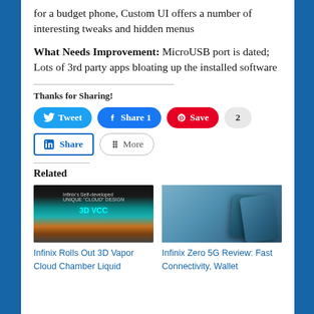for a budget phone, Custom UI offers a number of interesting tweaks and hidden menus
What Needs Improvement: MicroUSB port is dated; Lots of 3rd party apps bloating up the installed software
Thanks for Sharing!
[Figure (screenshot): Social sharing buttons: Tweet (Twitter, blue), Share 1 (Facebook, dark blue), Save (Pinterest, red), 2 (count, gray), Share (LinkedIn, outlined), More (gray outlined)]
Related
[Figure (photo): Infinix 3D Vapor Cloud Chamber Liquid cooling technology diagram showing layered design with cyan glow and '3D VCC' label]
Infinix Rolls Out 3D Vapor Cloud Chamber Liquid…
[Figure (photo): Infinix Zero 5G smartphone shown from rear angle in blue/teal color]
Infinix Zero 5G Review: Fast Connectivity, Wallet…